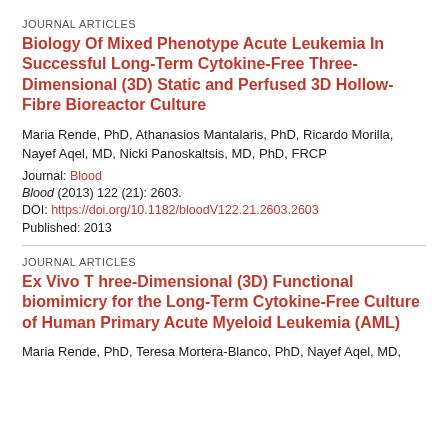JOURNAL ARTICLES
Biology Of Mixed Phenotype Acute Leukemia In Successful Long-Term Cytokine-Free Three-Dimensional (3D) Static and Perfused 3D Hollow-Fibre Bioreactor Culture
Maria Rende, PhD, Athanasios Mantalaris, PhD, Ricardo Morilla, Nayef Aqel, MD, Nicki Panoskaltsis, MD, PhD, FRCP
Journal: Blood
Blood (2013) 122 (21): 2603.
DOI: https://doi.org/10.1182/bloodV122.21.2603.2603
Published: 2013
JOURNAL ARTICLES
Ex Vivo T hree-Dimensional (3D) Functional biomimicry for the Long-Term Cytokine-Free Culture of Human Primary Acute Myeloid Leukemia (AML)
Maria Rende, PhD, Teresa Mortera-Blanco, PhD, Nayef Aqel, MD,